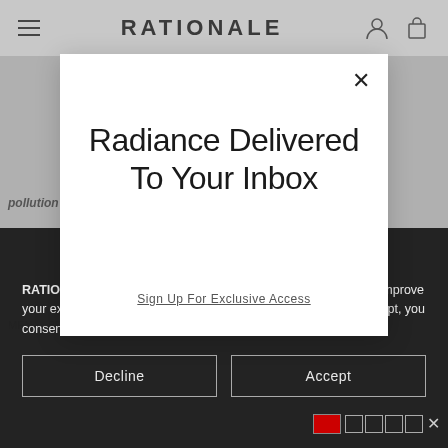RATIONALE
Radiance Delivered To Your Inbox
Sign Up For Exclusive Access
RATIONALE uses our own and third party cookies on the site to improve your experience and for personalised advertising. By clicking accept, you consent to our use of cookies, or change your preferences here.
Decline
Accept
pollution by forming an ultrafine mesh of c...